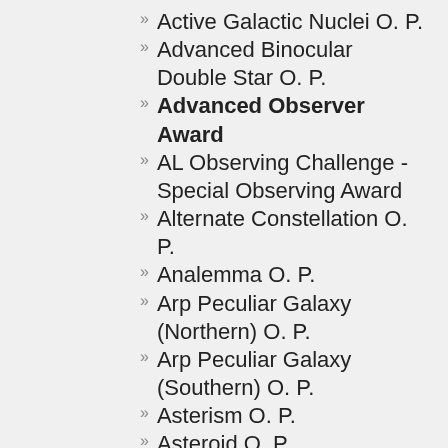Active Galactic Nuclei O. P.
Advanced Binocular Double Star O. P.
Advanced Observer Award
AL Observing Challenge - Special Observing Award
Alternate Constellation O. P.
Analemma O. P.
Arp Peculiar Galaxy (Northern) O. P.
Arp Peculiar Galaxy (Southern) O. P.
Asterism O. P.
Asteroid O. P.
Astronomy Before the Telescope O. C.
Bennett Observing Program
Beyond Polaris O. P.
Binocular Double Star O. P.
Binocular Master O. A.
Binocular Messier O. P.